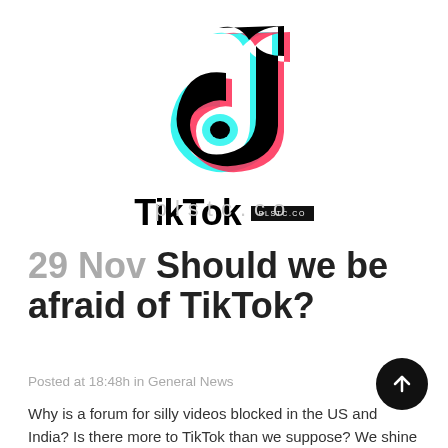[Figure (logo): TikTok logo with musical note icon in black, cyan, and red/pink colors, with TikTok wordmark below and a small PLSTC.CO badge to the right]
29 Nov Should we be afraid of TikTok?
Posted at 18:48h in General News
Why is a forum for silly videos blocked in the US and India? Is there more to TikTok than we suppose? We shine the spotlight on the